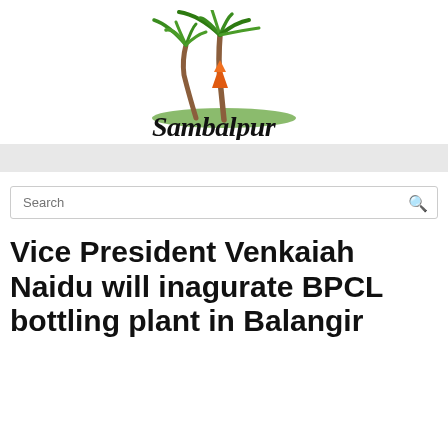[Figure (logo): Sambalpur website logo with palm trees illustration and stylized handwritten 'Sambalpur' text]
Search
Vice President Venkaiah Naidu will inagurate BPCL bottling plant in Balangir